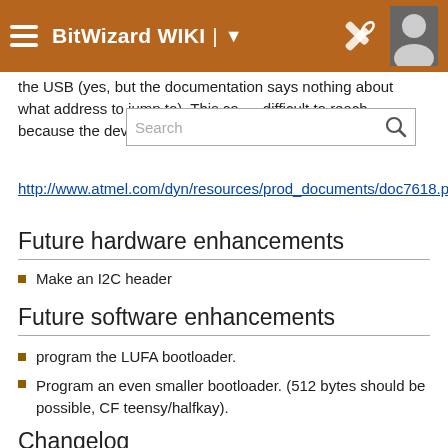BitWizard WIKI
the USB (yes, but the documentation says nothing about what address to jump to). This could difficult to reach because the device is built-in somewhere.
http://www.atmel.com/dyn/resources/prod_documents/doc7618.pdf
Future hardware enhancements
Make an I2C header
Future software enhancements
program the LUFA bootloader.
Program an even smaller bootloader. (512 bytes should be possible, CF teensy/halfkay).
Changelog
1.1
Added USB support for functions... I2C document...